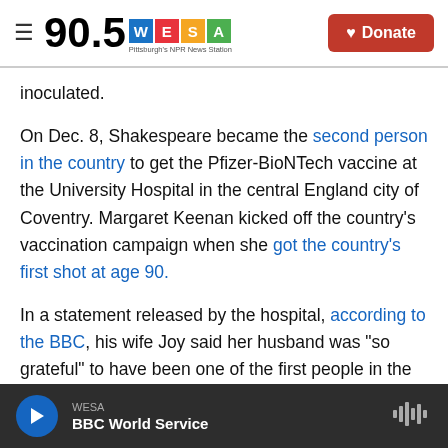90.5 WESA — Pittsburgh's NPR News Station | Donate
inoculated.
On Dec. 8, Shakespeare became the second person in the country to get the Pfizer-BioNTech vaccine at the University Hospital in the central England city of Coventry. Margaret Keenan kicked off the country's vaccination campaign when she got the country's first shot at age 90.
In a statement released by the hospital, according to the BBC, his wife Joy said her husband was "so grateful" to have been one of the first people in the world to be vaccinated against the virus.
WESA — BBC World Service